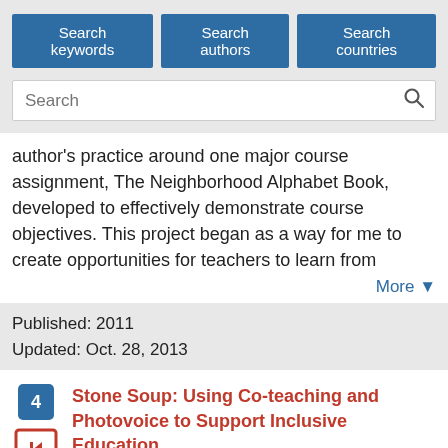Search keywords | Search authors | Search countries | Search
author's practice around one major course assignment, The Neighborhood Alphabet Book, developed to effectively demonstrate course objectives. This project began as a way for me to create opportunities for teachers to learn from
More ▼
Published: 2011
Updated: Oct. 28, 2013
4 Stone Soup: Using Co-teaching and Photovoice to Support Inclusive Education
Authors: Kroeger Stephen, Embury Dusty, Cooper Adam, Brydon-Miller Mary, Laine Chester, Johnson Holly
The goal of this action research project was to increase the local educational system's capacity to teach to greater